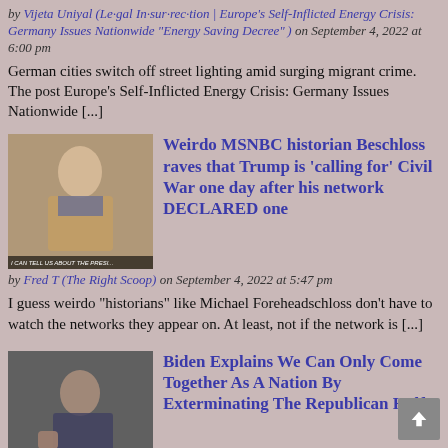by Vijeta Uniyal (Legal Insurrection | Europe's Self-Inflicted Energy Crisis: Germany Issues Nationwide "Energy Saving Decree") on September 4, 2022 at 6:00 pm
German cities switch off street lighting amid surging migrant crime. The post Europe's Self-Inflicted Energy Crisis: Germany Issues Nationwide [...]
[Figure (photo): Thumbnail photo of a man in a suit speaking, with caption text at bottom]
Weirdo MSNBC historian Beschloss raves that Trump is 'calling for' Civil War one day after his network DECLARED one
by Fred T (The Right Scoop) on September 4, 2022 at 5:47 pm
I guess weirdo "historians" like Michael Foreheadschloss don't have to watch the networks they appear on. At least, not if the network is [...]
[Figure (photo): Thumbnail photo of Biden speaking at a podium]
Biden Explains We Can Only Come Together As A Nation By Exterminating The Republican Half
by Babylon Bee (Babylon Bee) on September 4, 2022 at 5:46 pm
WASHINGTON, D.C. — In a stirring call for unity and